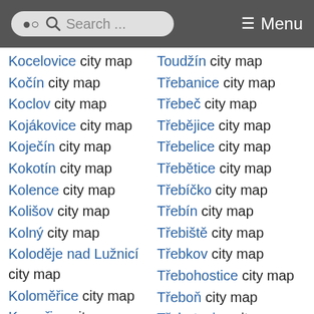Search ... Menu
Kocelovice city map
Kočín city map
Koclov city map
Kojákovice city map
Koječín city map
Kokotín city map
Kolence city map
Kolišov city map
Kolný city map
Koloděje nad Lužnicí city map
Koloměřice city map
Komařice city map
Komárov city map
Kondrac city map
Toudžín city map
Třebanice city map
Třebeč city map
Třebějice city map
Třebelice city map
Třebětice city map
Třebíčko city map
Třebín city map
Třebiště city map
Třebkov city map
Třebohostice city map
Třeboň city map
Třebotovice city map
Třebovice city map
Třemošná city map